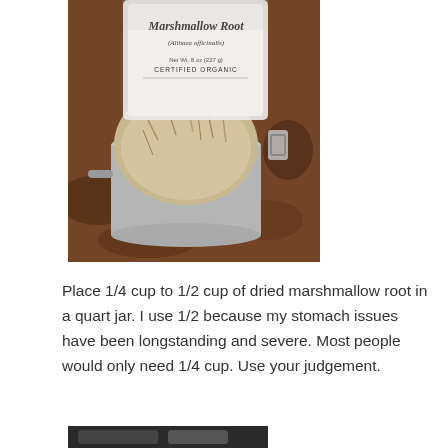[Figure (photo): A package of Marshmallow Root (Althaea officinalis), Certified Organic, with a measuring cup filled with dried marshmallow root pieces on a granite countertop.]
Place 1/4 cup to 1/2 cup of dried marshmallow root in a quart jar.  I use 1/2 because my stomach issues have been longstanding and severe.  Most people would only need 1/4 cup.  Use your judgement.
[Figure (photo): Partial view of another photo at the bottom of the page, appears to be a dark container or jar.]